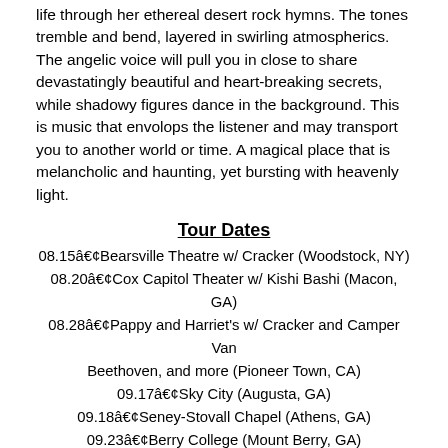life through her ethereal desert rock hymns. The tones tremble and bend, layered in swirling atmospherics. The angelic voice will pull you in close to share devastatingly beautiful and heart-breaking secrets, while shadowy figures dance in the background. This is music that envolops the listener and may transport you to another world or time. A magical place that is melancholic and haunting, yet bursting with heavenly light.
Tour Dates
08.15•Bearsville Theatre w/ Cracker (Woodstock, NY)
08.20•Cox Capitol Theater w/ Kishi Bashi (Macon, GA)
08.28•Pappy and Harriet's w/ Cracker and Camper Van Beethoven, and more (Pioneer Town, CA)
09.17•Sky City (Augusta, GA)
09.18•Seney-Stovall Chapel (Athens, GA)
09.23•Berry College (Mount Berry, GA)
09.25•The Five Spot (Nashville, TN)
09.29•Petra's (Charlotte, NC)
10.09•Rockwood Music Hall (New York, NY)
With her latest release, Shaky. The Athens, GA multi-